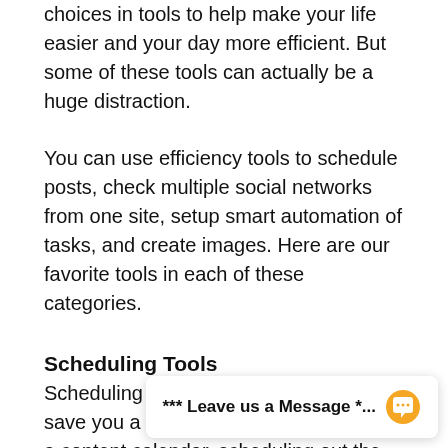choices in tools to help make your life easier and your day more efficient. But some of these tools can actually be a huge distraction.
You can use efficiency tools to schedule posts, check multiple social networks from one site, setup smart automation of tasks, and create images. Here are our favorite tools in each of these categories.
Scheduling Tools
Scheduling out social media posts will save you a ton of time. Once you create a content calendar, scheduling out the posts for a month or more will take much less time than if you had to login to multiple networks every time you have to post something. For soci recommend tools li